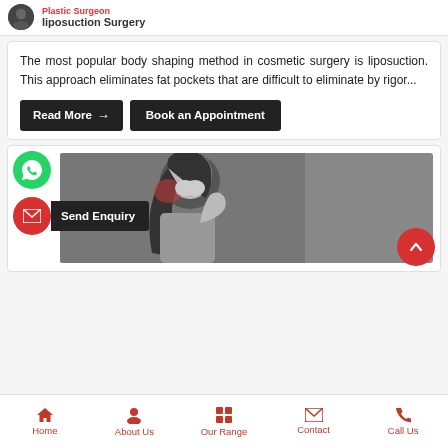Plastic Surgeon — Liposuction Surgery
The most popular body shaping method in cosmetic surgery is liposuction. This approach eliminates fat pockets that are difficult to eliminate by rigor...
Read More →
Book an Appointment
[Figure (photo): Grayscale photo of a woman in pain holding her head with red highlight near temple area]
Send Enquiry
Home | About Us | Our Range | Contact | Call Us